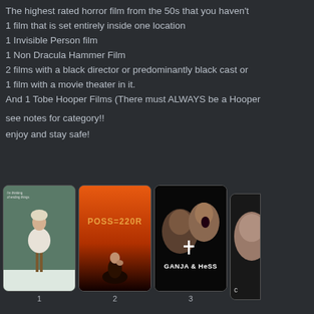The highest rated horror film from the 50s that you haven't
1 film that is set entirely inside one location
1 Invisible Person film
1 Non Dracula Hammer Film
2 films with a black director or predominantly black cast or
1 film with a movie theater in it.
And 1 Tobe Hooper Films (There must ALWAYS be a Hooper
see notes for category!!
enjoy and stay safe!
[Figure (photo): Movie poster for 'I'm Thinking of Ending Things' showing a woman sitting on a stool in wintry clothes]
[Figure (photo): Movie poster for 'Possessor' with orange/red gradient and stylized title text]
[Figure (photo): Movie poster for 'Ganja & Hess' showing two faces and a cross]
[Figure (photo): Partial movie poster (fourth in row, cropped)]